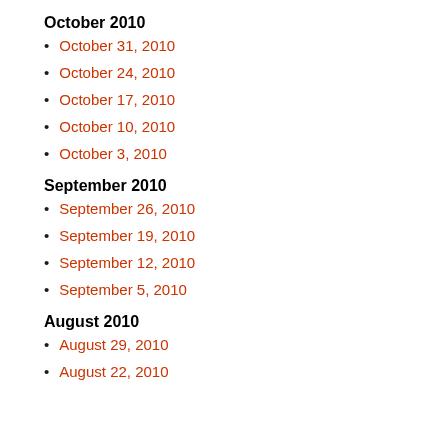October 2010
October 31, 2010
October 24, 2010
October 17, 2010
October 10, 2010
October 3, 2010
September 2010
September 26, 2010
September 19, 2010
September 12, 2010
September 5, 2010
August 2010
August 29, 2010
August 22, 2010